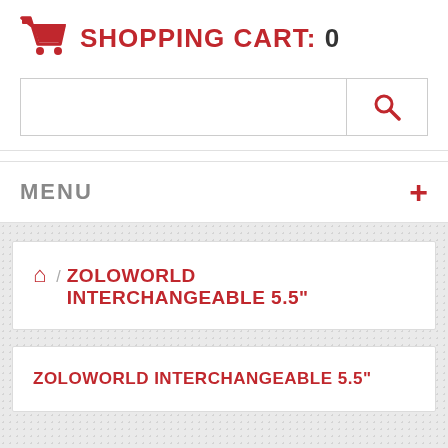SHOPPING CART: 0
[Figure (screenshot): Search bar with magnifying glass icon]
MENU
🏠 / ZOLOWORLD INTERCHANGEABLE 5.5"
ZOLOWORLD INTERCHANGEABLE 5.5"